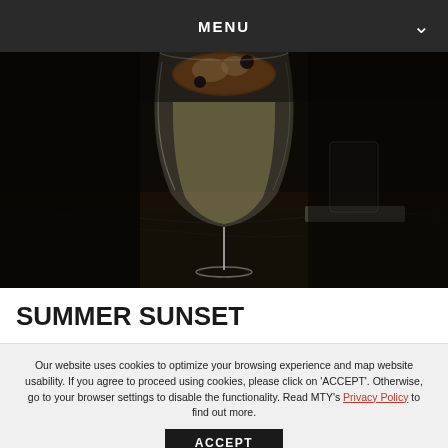MENU
[Figure (photo): A cocktail in a large wine glass with dark garnish on top, sitting on a dark marble surface. A short glass is visible in the background on the right.]
SUMMER SUNSET
Our website uses cookies to optimize your browsing experience and map website usability. If you agree to proceed using cookies, please click on 'ACCEPT'. Otherwise, go to your browser settings to disable the functionality. Read MTY's Privacy Policy to find out more.
ACCEPT